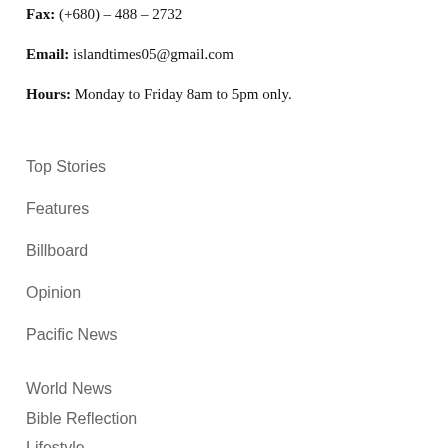Fax: (+680) – 488 – 2732
Email: islandtimes05@gmail.com
Hours: Monday to Friday 8am to 5pm only.
Top Stories
Features
Billboard
Opinion
Pacific News
World News
Bible Reflection
Lifestyle